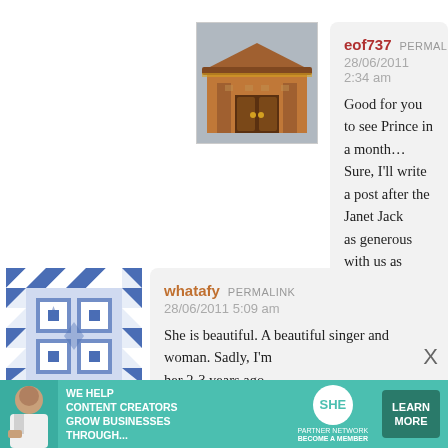[Figure (photo): Avatar thumbnail showing a Japanese temple gate (red/brown gate architecture)]
eof737  PERMALINK
28/06/2011 2:34 am
Good for you to see Prince in a month… Sure, I'll write a post after the Janet Jack as generous with us as Sade' was. Sendin your marriage. TY for stopping by 🙂
★ Loading...
[Figure (illustration): Avatar with blue and white geometric quilt/tile pattern]
whatafy  PERMALINK
28/06/2011 5:09 am
She is beautiful. A beautiful singer and woman. Sadly, I'm her 2-3 years ago.
[Figure (infographic): SHE Media Partner Network advertisement banner with woman, text 'We help content creators grow businesses through...' and Learn More button]